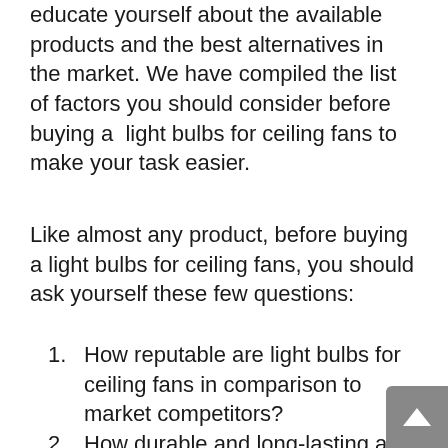educate yourself about the available products and the best alternatives in the market. We have compiled the list of factors you should consider before buying a  light bulbs for ceiling fans to make your task easier.
Like almost any product, before buying a light bulbs for ceiling fans, you should ask yourself these few questions:
How reputable are light bulbs for ceiling fans in comparison to market competitors?
How durable and long-lasting are they, and how easy is it to service or fix them if something goes wrong?